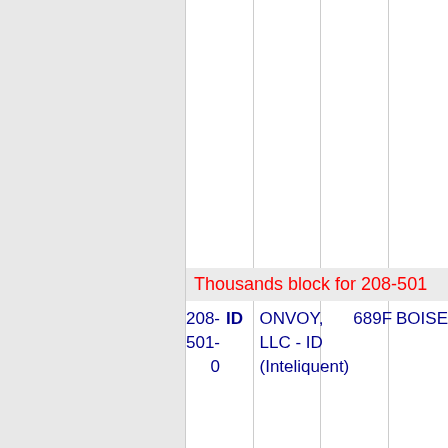|  | ID | ONVOY, LLC - ID (Inteliquent) | 689F | BOISE |
| --- | --- | --- | --- | --- |
| 208-501-0 | ID | ONVOY, LLC - ID (Inteliquent) | 689F | BOISE |